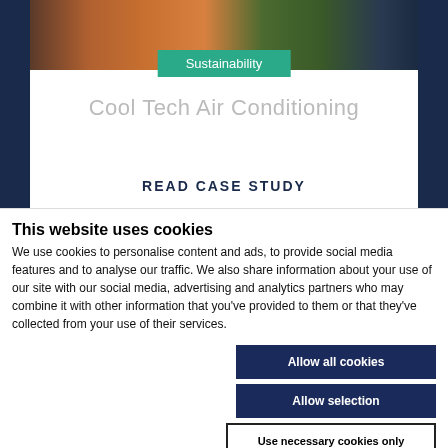[Figure (photo): Background webpage showing a case study card for Cool Tech Air Conditioning with a photo of people at top, a teal Sustainability tag, the title 'Cool Tech Air Conditioning', and partially visible 'READ CASE STUDY' text]
This website uses cookies
We use cookies to personalise content and ads, to provide social media features and to analyse our traffic. We also share information about your use of our site with our social media, advertising and analytics partners who may combine it with other information that you've provided to them or that they've collected from your use of their services.
Allow all cookies
Allow selection
Use necessary cookies only
Necessary   Preferences   Statistics   Marketing   Show details